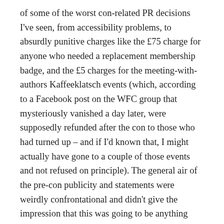of some of the worst con-related PR decisions I've seen, from accessibility problems, to absurdly punitive charges like the £75 charge for anyone who needed a replacement membership badge, and the £5 charges for the meeting-with-authors Kaffeeklatsch events (which, according to a Facebook post on the WFC group that mysteriously vanished a day later, were supposedly refunded after the con to those who had turned up – and if I'd known that, I might actually have gone to a couple of those events and not refused on principle). The general air of the pre-con publicity and statements were weirdly confrontational and didn't give the impression that this was going to be anything other than an exceptionally weird and stressful time.
As it turns out, I needn't have worried. World Fantasy Con may not have been an awe-inspiring experience